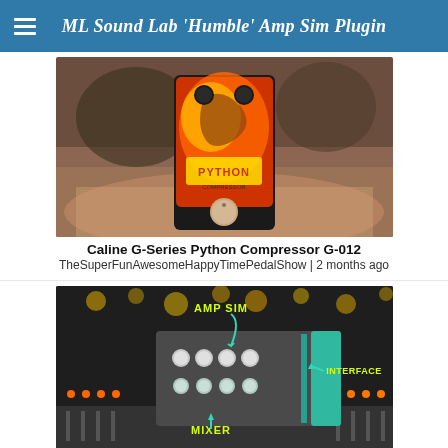ML Sound Lab 'Humble' Amp Sim Plugin
[Figure (photo): Photo of a Caline G-Series Python Compressor guitar pedal held in hand, with colorful python snake artwork on front panel, silver knob at bottom, on a patterned carpet background]
Caline G-Series Python Compressor G-012
TheSuperFunAwesomeHappyTimePedalShow | 2 months ago
[Figure (photo): Photo of a Flamma FM-10 device on a mixing console, with yellow text labels 'AMP SIM', 'INTERFACE', and 'MIXER' with teal arrows pointing to different parts of the device. Device has teal/turquoise colored sides and multiple white knobs.]
Mixer + Interface + Amp Sim - Flamma FM-10